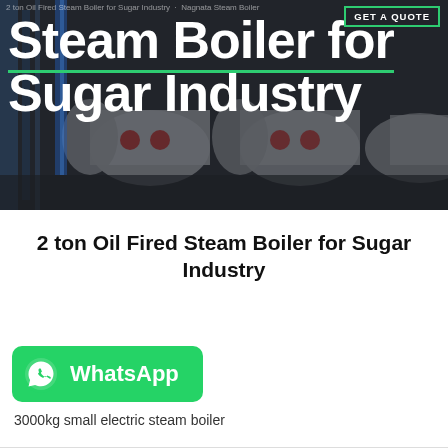[Figure (photo): Hero banner showing industrial steam boilers (large cylindrical horizontal boilers) in an industrial setting with blue structural framework, dark overlay background. Text overlay reads 'Steam Boiler for Sugar Industry' in large white bold font with a green underline. A 'GET QUOTE' button with green border appears top right. Faint breadcrumb text appears top left.]
2 ton Oil Fired Steam Boiler for Sugar Industry
[Figure (logo): WhatsApp button: green rounded rectangle with WhatsApp phone icon on left and 'WhatsApp' text in white bold font]
3000kg small electric steam boiler